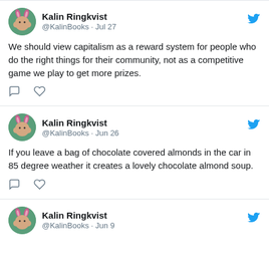[Figure (screenshot): Twitter/X profile avatar for Kalin Ringkvist - circular photo of person with pink bunny ears on teal background]
Kalin Ringkvist @KalinBooks · Jul 27
We should view capitalism as a reward system for people who do the right things for their community, not as a competitive game we play to get more prizes.
[Figure (screenshot): Twitter/X profile avatar for Kalin Ringkvist - circular photo of person with pink bunny ears on teal background]
Kalin Ringkvist @KalinBooks · Jun 26
If you leave a bag of chocolate covered almonds in the car in 85 degree weather it creates a lovely chocolate almond soup.
[Figure (screenshot): Twitter/X profile avatar for Kalin Ringkvist - circular photo of person with pink bunny ears on teal background]
Kalin Ringkvist @KalinBooks · Jun 9